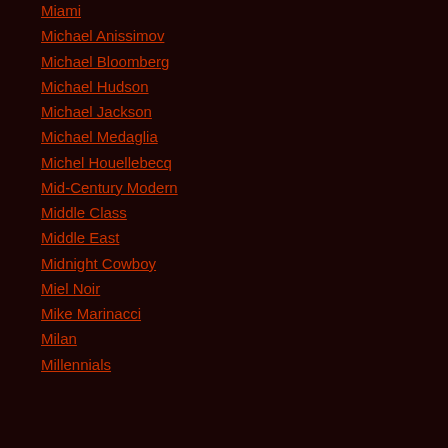Miami
Michael Anissimov
Michael Bloomberg
Michael Hudson
Michael Jackson
Michael Medaglia
Michel Houellebecq
Mid-Century Modern
Middle Class
Middle East
Midnight Cowboy
Miel Noir
Mike Marinacci
Milan
Millennials